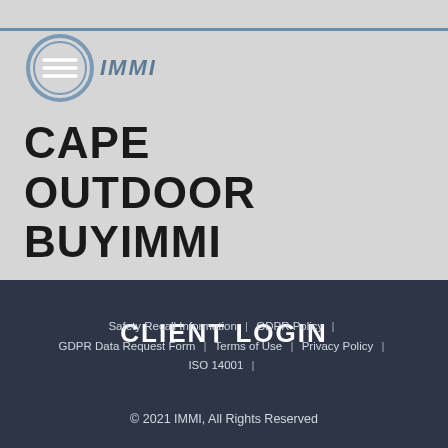[Figure (logo): IMMI logo: circular icon with horizontal menu lines, followed by italic bold text 'IMMI' in steel blue]
CAPE OUTDOOR BUYIMMI
CLIENT LOGIN
Safety Recall Information | GDPR Policy | GDPR Data Request Form | Terms of Use | Privacy Policy | ISO 14001 | © 2021 IMMI, All Rights Reserved